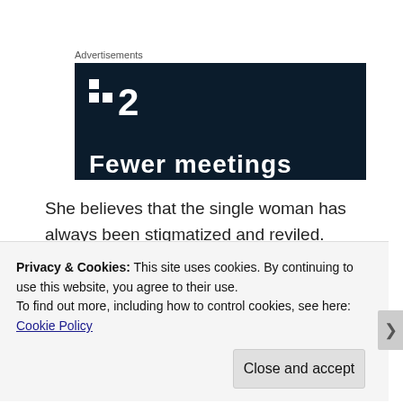Advertisements
[Figure (other): Advertisement banner with dark navy background showing a logo with two small squares and the number 2, and text 'Fewer meetings' at the bottom]
She believes that the single woman has always been stigmatized and reviled.  Social
Privacy & Cookies: This site uses cookies. By continuing to use this website, you agree to their use.
To find out more, including how to control cookies, see here: Cookie Policy
Close and accept